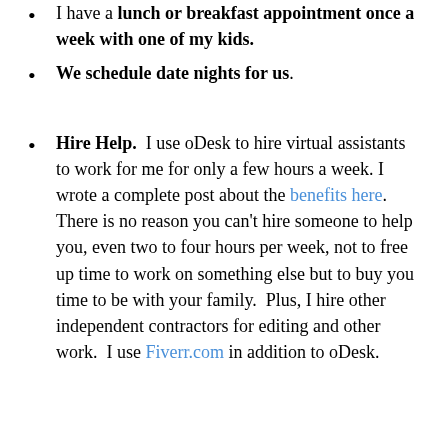I have a lunch or breakfast appointment once a week with one of my kids.
We schedule date nights for us.
Hire Help. I use oDesk to hire virtual assistants to work for me for only a few hours a week. I wrote a complete post about the benefits here. There is no reason you can't hire someone to help you, even two to four hours per week, not to free up time to work on something else but to buy you time to be with your family. Plus, I hire other independent contractors for editing and other work. I use Fiverr.com in addition to oDesk.